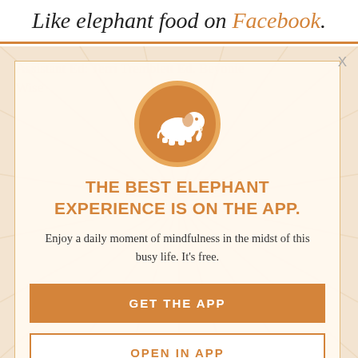Like elephant food on Facebook.
[Figure (illustration): Elephant journal app promotion modal popup with orange elephant logo circle, headline, description text, and two call-to-action buttons]
THE BEST ELEPHANT EXPERIENCE IS ON THE APP.
Enjoy a daily moment of mindfulness in the midst of this busy life. It's free.
GET THE APP
OPEN IN APP